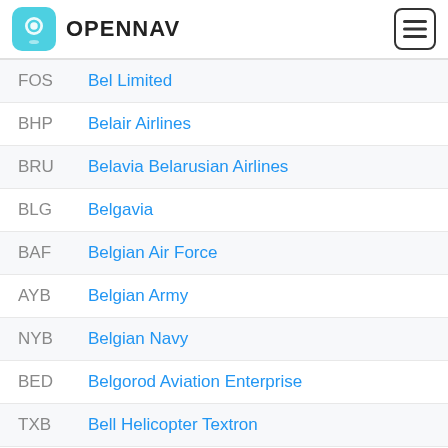OPENNAV
FOS  Bel Limited
BHP  Belair Airlines
BRU  Belavia Belarusian Airlines
BLG  Belgavia
BAF  Belgian Air Force
AYB  Belgian Army
NYB  Belgian Navy
BED  Belgorod Aviation Enterprise
TXB  Bell Helicopter Textron
LBY  Belle Air